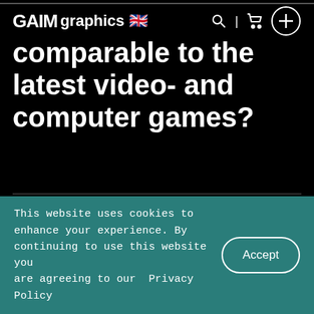GAIM graphics [flag] [search] | [cart] [+]
comparable to the latest video- and computer games?
Do you only aim with a red dot in GAIM?
This website uses cookies to enhance your experience. By continuing to use this website you are agreeing to our  Privacy Policy
Accept